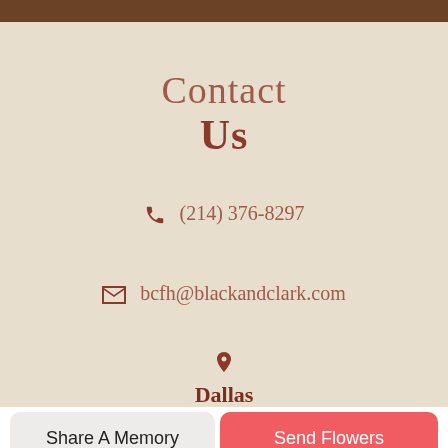Contact Us
(214) 376-8297
bcfh@blackandclark.com
Dallas
Share A Memory
Send Flowers
Plant A Tree